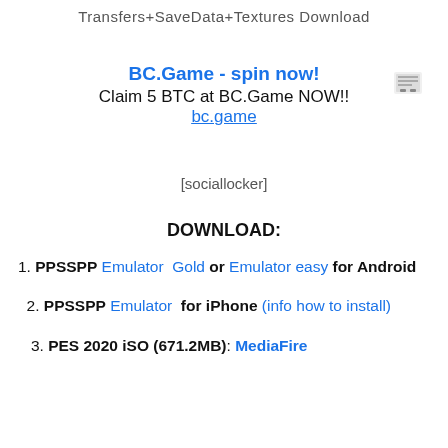Transfers+SaveData+Textures Download
[Figure (other): Small icon/logo image in top right corner]
BC.Game - spin now!
Claim 5 BTC at BC.Game NOW!!
bc.game
[sociallocker]
DOWNLOAD:
1. PPSSPP Emulator  Gold or Emulator easy  for Android
2. PPSSPP Emulator  for iPhone (info how to install)
3. PES 2020 iSO (671.2MB): MediaFire